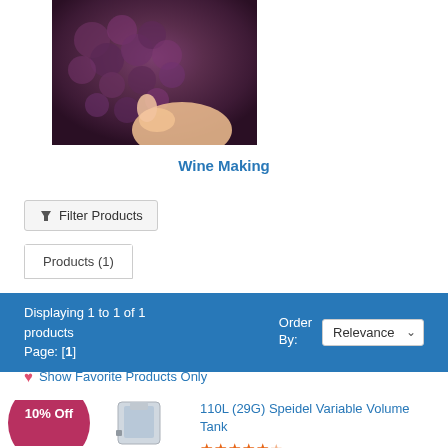[Figure (photo): Hands pressing dark purple wine grapes — winemaking process photo]
Wine Making
Filter Products
Products (1)
Displaying 1 to 1 of 1 products
Page: [1]
Order By: Relevance
Show Favorite Products Only
10% Off
110L (29G) Speidel Variable Volume Tank
★★★★★
$899.99